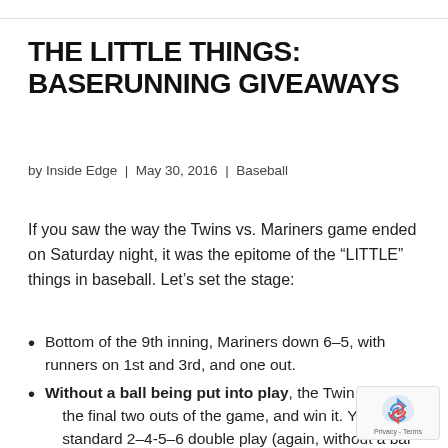THE LITTLE THINGS: BASERUNNING GIVEAWAYS
by Inside Edge | May 30, 2016 | Baseball
If you saw the way the Twins vs. Mariners game ended on Saturday night, it was the epitome of the “LITTLE” things in baseball. Let’s set the stage:
Bottom of the 9th inning, Mariners down 6–5, with runners on 1st and 3rd, and one out.
Without a ball being put into play, the Twins get the final two outs of the game, and win it. You’d think standard 2–4-5–6 double play (again, without a ball...